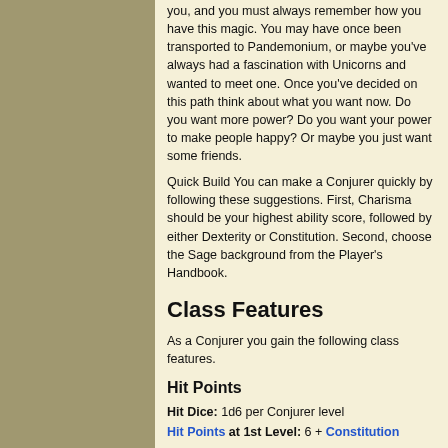you, and you must always remember how you have this magic. You may have once been transported to Pandemonium, or maybe you've always had a fascination with Unicorns and wanted to meet one. Once you've decided on this path think about what you want now. Do you want more power? Do you want your power to make people happy? Or maybe you just want some friends.
Quick Build You can make a Conjurer quickly by following these suggestions. First, Charisma should be your highest ability score, followed by either Dexterity or Constitution. Second, choose the Sage background from the Player's Handbook.
Class Features
As a Conjurer you gain the following class features.
Hit Points
Hit Dice: 1d6 per Conjurer level
Hit Points at 1st Level: 6 + Constitution